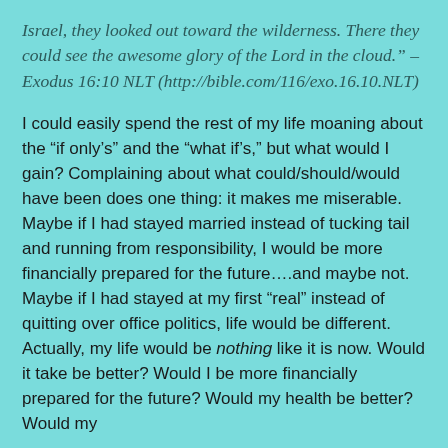Israel, they looked out toward the wilderness. There they could see the awesome glory of the Lord in the cloud." – Exodus 16:10 NLT (http://bible.com/116/exo.16.10.NLT)
I could easily spend the rest of my life moaning about the “if only’s” and the “what if’s,” but what would I gain? Complaining about what could/should/would have been does one thing: it makes me miserable. Maybe if I had stayed married instead of tucking tail and running from responsibility, I would be more financially prepared for the future….and maybe not. Maybe if I had stayed at my first “real” instead of quitting over office politics, life would be different. Actually, my life would be nothing like it is now. Would it take be better? Would I be more financially prepared for the future? Would my health be better? Would my